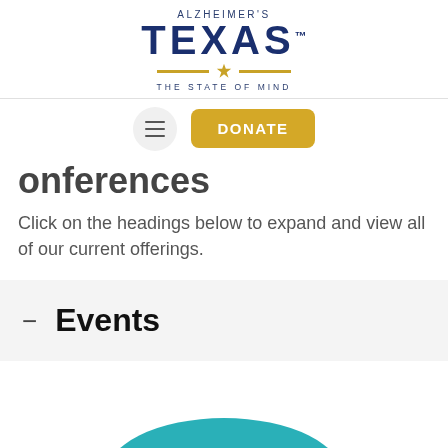[Figure (logo): Alzheimer's Texas logo with 'THE STATE OF MIND' tagline, dark navy text with gold decorative line and Texas star icon]
[Figure (screenshot): Navigation bar with hamburger menu button (circle with three lines) and yellow DONATE button]
Conferences
Click on the headings below to expand and view all of our current offerings.
– Events
[Figure (illustration): Partial teal circular arc visible at bottom of page]